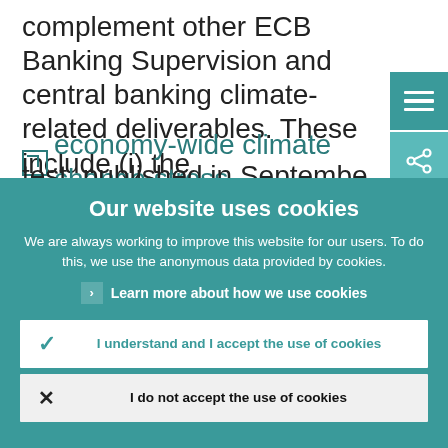complement other ECB Banking Supervision and central banking climate-related deliverables. These include (i) the economy-wide climate change stress test, published in September 2021, (ii) the
[Figure (screenshot): Cookie consent overlay on ECB website with title 'Our website uses cookies', explanatory text, a learn more link, an accept button, and a reject button.]
Our website uses cookies
We are always working to improve this website for our users. To do this, we use the anonymous data provided by cookies.
Learn more about how we use cookies
I understand and I accept the use of cookies
I do not accept the use of cookies